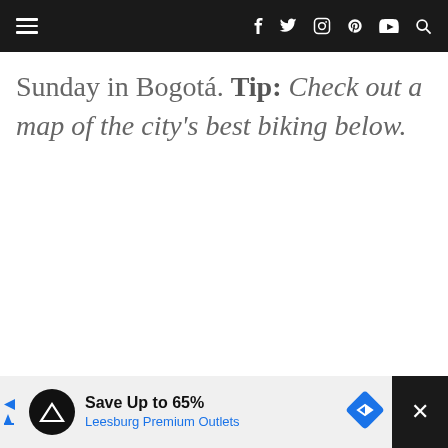Navigation bar with hamburger menu and social icons (f, twitter, instagram, pinterest, youtube, search)
Sunday in Bogotá. Tip: Check out a map of the city's best biking below.
[Figure (other): Advertisement banner: Save Up to 65% Leesburg Premium Outlets]
Save Up to 65% Leesburg Premium Outlets